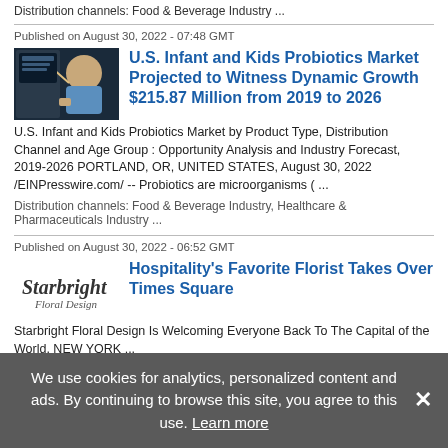Distribution channels: Food & Beverage Industry ...
Published on August 30, 2022 - 07:48 GMT
[Figure (photo): Baby being fed, market report cover image]
U.S. Infant and Kids Probiotics Market Projected to Witness Dynamic Growth $215.87 Million from 2019 to 2026
U.S. Infant and Kids Probiotics Market by Product Type, Distribution Channel and Age Group : Opportunity Analysis and Industry Forecast, 2019-2026 PORTLAND, OR, UNITED STATES, August 30, 2022 /EINPresswire.com/ -- Probiotics are microorganisms ( ...
Distribution channels: Food & Beverage Industry, Healthcare & Pharmaceuticals Industry ...
Published on August 30, 2022 - 06:52 GMT
[Figure (logo): Starbright Floral Design logo]
Hospitality's Favorite Florist Takes Over Times Square
Starbright Floral Design Is Welcoming Everyone Back To The Capital of the World. NEW YORK ...
We use cookies for analytics, personalized content and ads. By continuing to browse this site, you agree to this use. Learn more